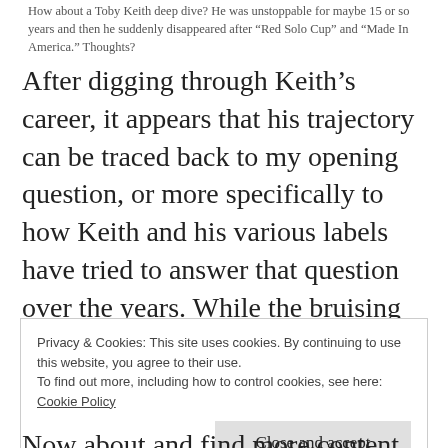How about a Toby Keith deep dive? He was unstoppable for maybe 15 or so years and then he suddenly disappeared after “Red Solo Cup” and “Made In America.” Thoughts?
After digging through Keith’s career, it appears that his trajectory can be traced back to my opening question, or more specifically to how Keith and his various labels have tried to answer that question over the years. While the bruising politics of the era certainly left their mark, it’s this question of musical
Privacy & Cookies: This site uses cookies. By continuing to use this website, you agree to their use.
To find out more, including how to control cookies, see here:
Cookie Policy
Close and accept
Now about and find more content for the advancing